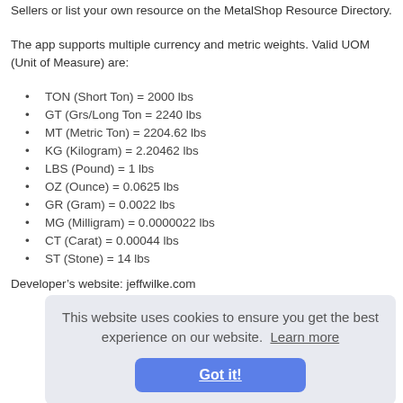Sellers or list your own resource on the MetalShop Resource Directory.
The app supports multiple currency and metric weights. Valid UOM (Unit of Measure) are:
TON (Short Ton) = 2000 lbs
GT (Grs/Long Ton = 2240 lbs
MT (Metric Ton) = 2204.62 lbs
KG (Kilogram) = 2.20462 lbs
LBS (Pound) = 1 lbs
OZ (Ounce) = 0.0625 lbs
GR (Gram) = 0.0022 lbs
MG (Milligram) = 0.0000022 lbs
CT (Carat) = 0.00044 lbs
ST (Stone) = 14 lbs
Developer’s website: jeffwilke.com
[Figure (screenshot): Cookie consent banner with text 'This website uses cookies to ensure you get the best experience on our website. Learn more' and a blue 'Got it!' button.]